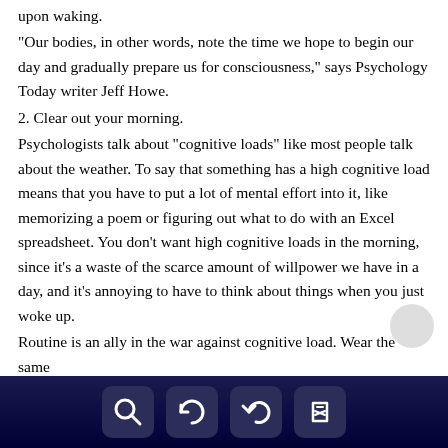upon waking.
"Our bodies, in other words, note the time we hope to begin our day and gradually prepare us for consciousness," says Psychology Today writer Jeff Howe.
2. Clear out your morning.
Psychologists talk about "cognitive loads" like most people talk about the weather. To say that something has a high cognitive load means that you have to put a lot of mental effort into it, like memorizing a poem or figuring out what to do with an Excel spreadsheet. You don't want high cognitive loads in the morning, since it's a waste of the scarce amount of willpower we have in a day, and it's annoying to have to think about things when you just woke up.
Routine is an ally in the war against cognitive load. Wear the same